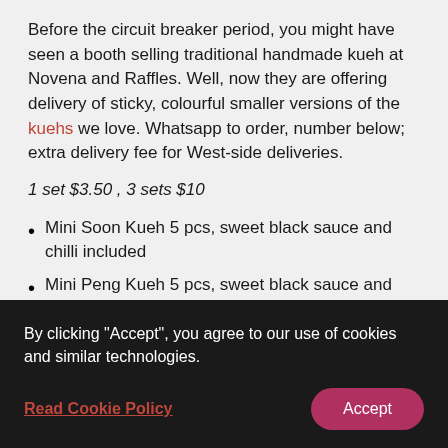Before the circuit breaker period, you might have seen a booth selling traditional handmade kueh at Novena and Raffles. Well, now they are offering delivery of sticky, colourful smaller versions of the kuehs we love. Whatsapp to order, number below; extra delivery fee for West-side deliveries.
1 set $3.50 , 3 sets $10
Mini Soon Kueh 5 pcs, sweet black sauce and chilli included
Mini Peng Kueh 5 pcs, sweet black sauce and chilli included
By clicking "Accept", you agree to our use of cookies and similar technologies.
Read Cookie Policy
Accept